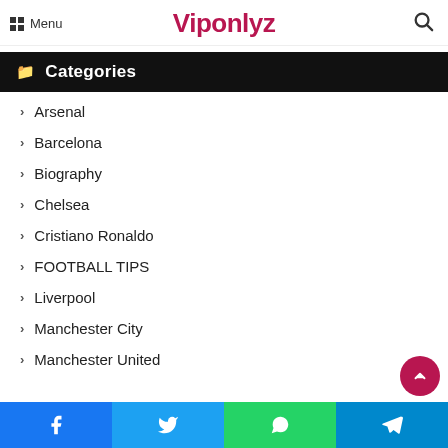Menu  Viponlyz
Categories
Arsenal
Barcelona
Biography
Chelsea
Cristiano Ronaldo
FOOTBALL TIPS
Liverpool
Manchester City
Manchester United
Facebook Twitter WhatsApp Telegram